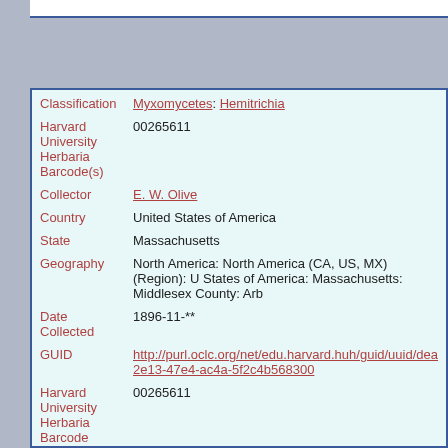| Field | Value |
| --- | --- |
| Classification | Myxomycetes: Hemitrichia |
| Harvard University Herbaria Barcode(s) | 00265611 |
| Collector | E. W. Olive |
| Country | United States of America |
| State | Massachusetts |
| Geography | North America: North America (CA, US, MX) (Region): United States of America: Massachusetts: Middlesex County: Arb... |
| Date Collected | 1896-11-** |
| GUID | http://purl.oclc.org/net/edu.harvard.huh/guid/uuid/dea...2e13-47e4-ac4a-5f2c4b568300 |
| Harvard University Herbaria Barcode | 00265611 |
| Herbarium | FH |
| Previous ownership | Herbarium of Roland Thaxter, Bequest, 1932 |